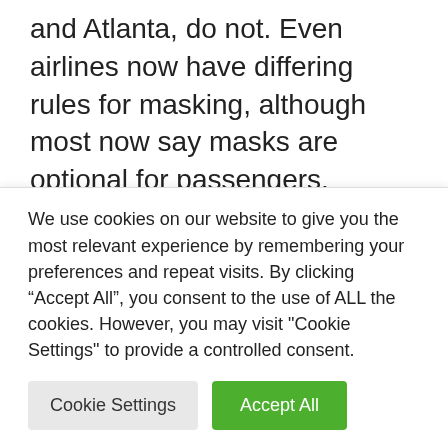and Atlanta, do not. Even airlines now have differing rules for masking, although most now say masks are optional for passengers. Amtrak has also said masks are no longer required on trains or in stations.
Asked Tuesday if people should still wear masks on planes, President Biden replied: “That’s up to them,” according to The Associated Press.
We use cookies on our website to give you the most relevant experience by remembering your preferences and repeat visits. By clicking “Accept All”, you consent to the use of ALL the cookies. However, you may visit "Cookie Settings" to provide a controlled consent.